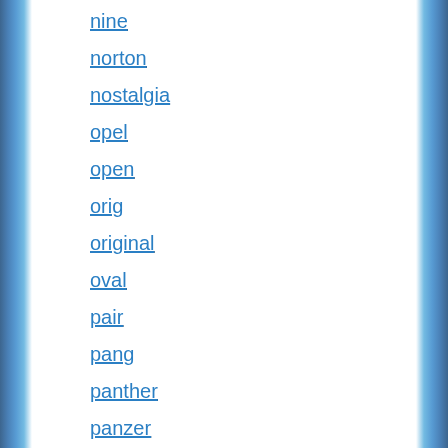nine
norton
nostalgia
opel
open
orig
original
oval
pair
pang
panther
panzer
parts
penrite